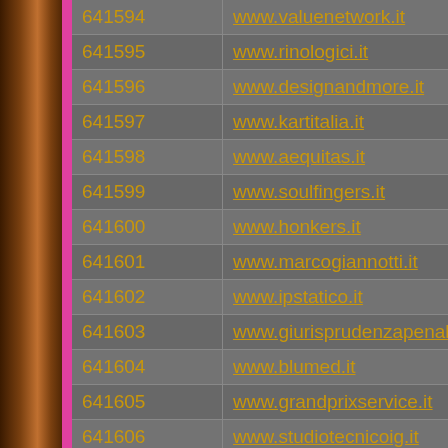| ID | URL |
| --- | --- |
| 641594 | www.valuenetwork.it |
| 641595 | www.rinologici.it |
| 641596 | www.designandmore.it |
| 641597 | www.kartitalia.it |
| 641598 | www.aequitas.it |
| 641599 | www.soulfingers.it |
| 641600 | www.honkers.it |
| 641601 | www.marcogiannotti.it |
| 641602 | www.ipstatico.it |
| 641603 | www.giurisprudenzapenale.it |
| 641604 | www.blumed.it |
| 641605 | www.grandprixservice.it |
| 641606 | www.studiotecnicoig.it |
| 641607 | www.agrialbergo.it |
| 641608 | www.amatosrl.it |
| 641609 | www.ferozbrothers.it |